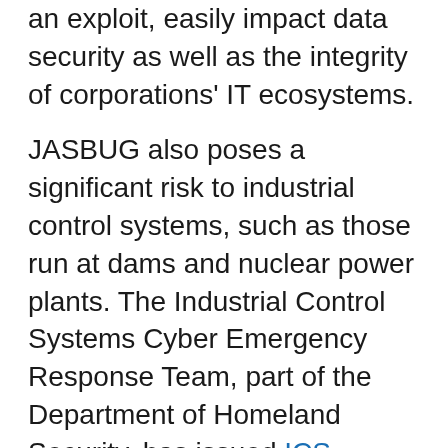an exploit, easily impact data security as well as the integrity of corporations' IT ecosystems.
JASBUG also poses a significant risk to industrial control systems, such as those run at dams and nuclear power plants. The Industrial Control Systems Cyber Emergency Response Team, part of the Department of Homeland Security, has issued ICS-ALERT-15-041-01, warning control systems owners that they should expedite applying critical JASBUG fixes: "Control systems that are members of a corporate Active Directory may be at risk. ICS-CERT is monitoring this vulnerability and will provide additional information related to control systems as it becomes available."